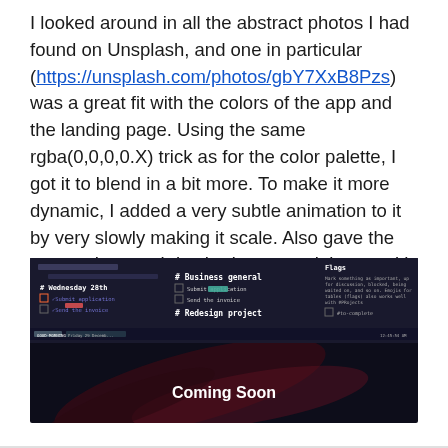I looked around in all the abstract photos I had found on Unsplash, and one in particular (https://unsplash.com/photos/gbY7XxB8Pzs) was a great fit with the colors of the app and the landing page. Using the same rgba(0,0,0,0.X) trick as for the color palette, I got it to blend in a bit more. To make it more dynamic, I added a very subtle animation to it by very slowly making it scale. Also gave the screenshot a subtle shadow to work better with the new background.
[Figure (screenshot): A dark-themed application screenshot showing a task manager interface with sections including 'Wednesday 28th', 'Business general', 'Redesign project', and 'Flags'. At the bottom center, text reads 'Coming Soon' in white on a dark background with abstract reddish streaks.]